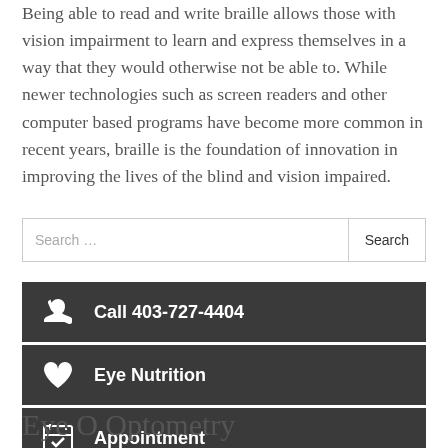Being able to read and write braille allows those with vision impairment to learn and express themselves in a way that they would otherwise not be able to. While newer technologies such as screen readers and other computer based programs have become more common in recent years, braille is the foundation of innovation in improving the lives of the blind and vision impaired.
Search ...
Call 403-727-4404
Eye Nutrition
Appointment
Eye O Optometry